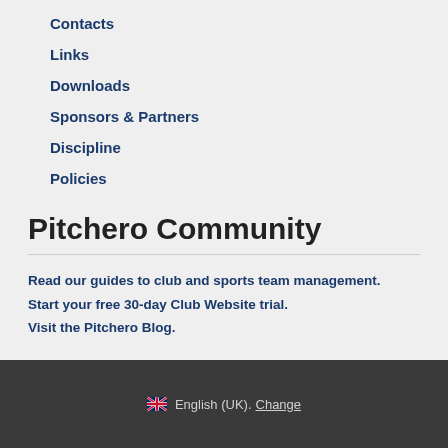Contacts
Links
Downloads
Sponsors & Partners
Discipline
Policies
Pitchero Community
Read our guides to club and sports team management.
Start your free 30-day Club Website trial.
Visit the Pitchero Blog.
🇬🇧 English (UK). Change